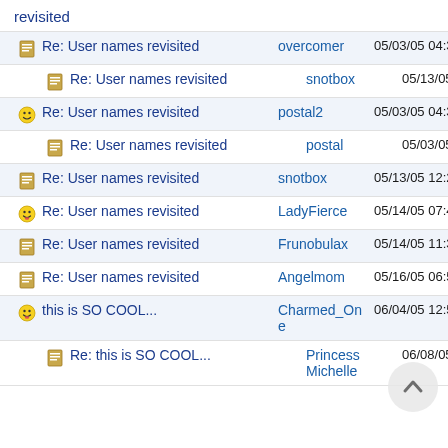revisited
Re: User names revisited | overcomer | 05/03/05 04:32 A
Re: User names revisited | snotbox | 05/13/05 12:28 A
Re: User names revisited | postal2 | 05/03/05 04:32 A
Re: User names revisited | postal | 05/03/05 04:54 A
Re: User names revisited | snotbox | 05/13/05 12:23 A
Re: User names revisited | LadyFierce | 05/14/05 07:40 P
Re: User names revisited | Frunobulax | 05/14/05 11:39 P
Re: User names revisited | Angelmom | 05/16/05 06:55 A
this is SO COOL... | Charmed_One | 06/04/05 12:53 A
Re: this is SO COOL... | Princess Michelle | 06/08/05 03:42 A